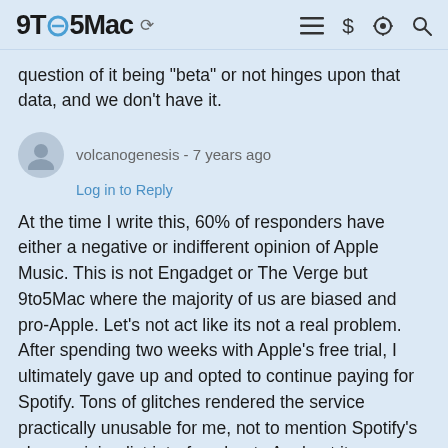9to5Mac
question of it being "beta" or not hinges upon that data, and we don't have it.
volcanogenesis - 7 years ago
Log in to Reply
At the time I write this, 60% of responders have either a negative or indifferent opinion of Apple Music. This is not Engadget or The Verge but 9to5Mac where the majority of us are biased and pro-Apple. Let's not act like its not a real problem. After spending two weeks with Apple's free trial, I ultimately gave up and opted to continue paying for Spotify. Tons of glitches rendered the service practically unusable for me, not to mention Spotify's clean, minimalist interface beats Apple at its own game. I think most long time Apple users agree, the company's software has taken a dive in the past couple of years. As a shareholder and a fan, I'd like to see them